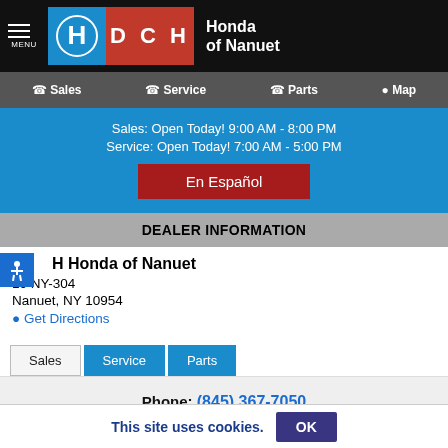DCH Honda of Nanuet
Sales  Service  Parts  Map
Sales: Open Today! 9:00 AM - 8:00 PM
Service: Open Today! 7:00 AM - 5:00 PM
En Español
DEALER INFORMATION
H Honda of Nanuet
10 NY-304
Nanuet, NY 10954
Get Directions
Sales  Service  Parts
Phone: (845) 367-7050
This site uses cookies.  OK